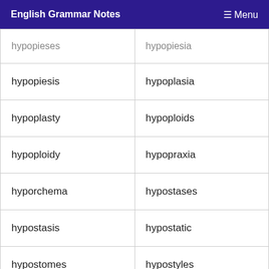English Grammar Notes   Menu
| hypopieses | hypopiesia |
| hypopiesis | hypoplasia |
| hypoplasty | hypoploids |
| hypoploidy | hypopraxia |
| hyporchema | hypostases |
| hypostasis | hypostatic |
| hypostomes | hypostyles |
| hypotactic | hypotenuse |
| hypothalli | hypothecia |
| hypothenar | hypotheses |